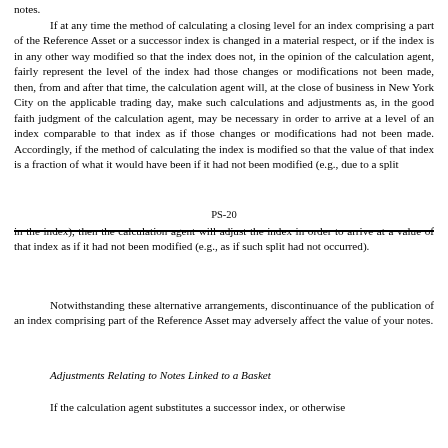notes.
If at any time the method of calculating a closing level for an index comprising a part of the Reference Asset or a successor index is changed in a material respect, or if the index is in any other way modified so that the index does not, in the opinion of the calculation agent, fairly represent the level of the index had those changes or modifications not been made, then, from and after that time, the calculation agent will, at the close of business in New York City on the applicable trading day, make such calculations and adjustments as, in the good faith judgment of the calculation agent, may be necessary in order to arrive at a level of an index comparable to that index as if those changes or modifications had not been made.  Accordingly, if the method of calculating the index is modified so that the value of that index is a fraction of what it would have been if it had not been modified (e.g., due to a split
PS-20
in the index), then the calculation agent will adjust the index in order to arrive at a value of that index as if it had not been modified (e.g., as if such split had not occurred).
Notwithstanding these alternative arrangements, discontinuance of the publication of an index comprising part of the Reference Asset may adversely affect the value of your notes.
Adjustments Relating to Notes Linked to a Basket
If the calculation agent substitutes a successor index, or otherwise